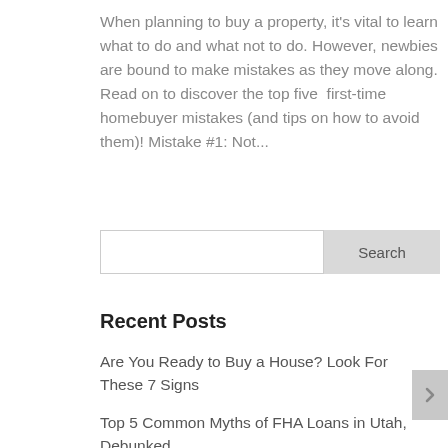When planning to buy a property, it's vital to learn what to do and what not to do. However, newbies are bound to make mistakes as they move along. Read on to discover the top five  first-time homebuyer mistakes (and tips on how to avoid them)! Mistake #1: Not...
Search
Recent Posts
Are You Ready to Buy a House? Look For These 7 Signs
Top 5 Common Myths of FHA Loans in Utah, Debunked
Can You Remodel Your Kitchen under the 203K Guidelines?